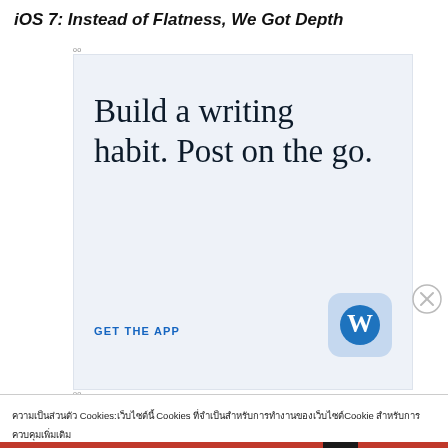iOS 7: Instead of Flatness, We Got Depth
[Figure (illustration): WordPress advertisement banner with light blue background. Large serif text reads 'Build a writing habit. Post on the go.' Blue link text 'GET THE APP' and WordPress logo icon in blue rounded square.]
ความเป็นส่วนตัว Cookies: เว็บไซต์นี้ Cookies ที่จำเป็นสำหรับการทำงานของเว็บไซต์Cookie สำหรับการควบคุมเพิ่มเติม Cookie รวมถึงวิธีการควบคุมคุกกี้โปรดดูที่: Cookie นโยบาย